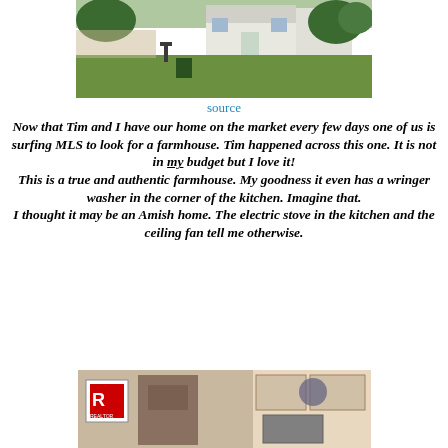[Figure (photo): Exterior photo of a farmhouse with a green lawn, hand pump, and trees in the background]
source
Now that Tim and I have our home on the market every few days one of us is surfing MLS to look for a farmhouse. Tim happened across this one. It is not in my budget but I love it! This is a true and authentic farmhouse. My goodness it even has a wringer washer in the corner of the kitchen. Imagine that. I thought it may be an Amish home. The electric stove in the kitchen and the ceiling fan tell me otherwise.
[Figure (photo): Interior photo of a farmhouse kitchen with a Realtor sign visible, showing cabinets and appliances]